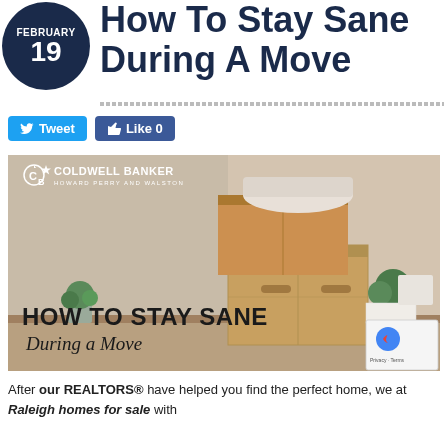How To Stay Sane During A Move
Tweet
Like 0
[Figure (photo): Coldwell Banker Howard Perry and Walston branded image showing moving boxes stacked in a room with text overlay: HOW TO STAY SANE During a Move]
After our REALTORS® have helped you find the perfect home, we at Raleigh homes for sale with